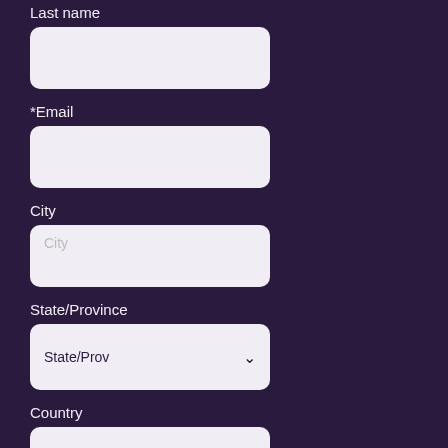Last name
[Figure (screenshot): Text input field for Last name, light colored rounded rectangle]
*Email
[Figure (screenshot): Text input field for Email, light colored rounded rectangle]
City
[Figure (screenshot): Text input field for City with placeholder text 'City', light colored rounded rectangle]
State/Province
[Figure (screenshot): Dropdown select field showing 'State/Prov' with dropdown arrow, light colored rounded rectangle]
Country
[Figure (screenshot): Dropdown select field showing 'Country' with dropdown arrow, light colored rounded rectangle]
By continuing, you accept the privacy policy